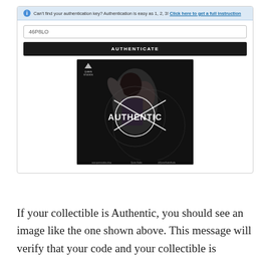Can't find your authentication key? Authentication is easy as 1, 2, 3! Click here to get a full instruction
46P8LO
AUTHENTICATE
[Figure (screenshot): Screenshot of authentication result showing a Queen Studios collectible figure of Wonder Woman with a white circle stamp overlay reading 'AUTHENTIC' in bold white text with diagonal slash lines through it, on a dark background. Queen Studios logo in top left.]
If your collectible is Authentic, you should see an image like the one shown above. This message will verify that your code and your collectible is